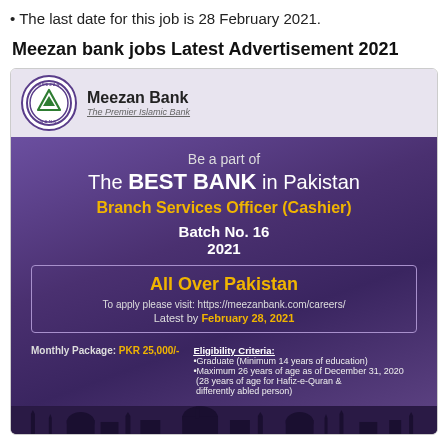The last date for this job is 28 February 2021.
Meezan bank jobs Latest Advertisement 2021
[Figure (infographic): Meezan Bank job advertisement for Branch Services Officer (Cashier), Batch No. 16, 2021. All Over Pakistan. Monthly Package PKR 25,000/-. Apply at meezanbank.com/careers by February 28, 2021. Eligibility: Graduate, minimum 14 years of education, maximum 26 years of age as of December 31, 2020 (28 years for Hafiz-e-Quran & differently abled person).]